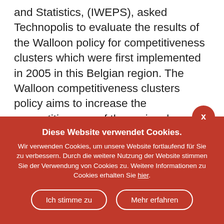and Statistics, (IWEPS), asked Technopolis to evaluate the results of the Walloon policy for competitiveness clusters which were first implemented in 2005 in this Belgian region. The Walloon competitiveness clusters policy aims to increase the competitiveness of the regional economy through research, innovation and the networking of actors. It mobilises businesses, research organisations and training organisations on joint projects. This evaluation aimed to inform decisions on the continuation of this policy and to assess individually whether to maintain or not the official accreditation of each pole ('label') ... Beyond these specific objectives, the study also contributed to improving the overall support for competitiveness of the Walloon economy through innovation. We built a tailor-made approach for this evaluation to produce a robust assessment of the results achieved by the competitiveness
Diese Website verwendet Cookies.
Wir verwenden Cookies, um unsere Website fortlaufend für Sie zu verbessern. Durch die weitere Nutzung der Website stimmen Sie der Verwendung von Cookies zu. Weitere Informationen zu Cookies erhalten Sie hier.
Ich stimme zu   Mehr erfahren